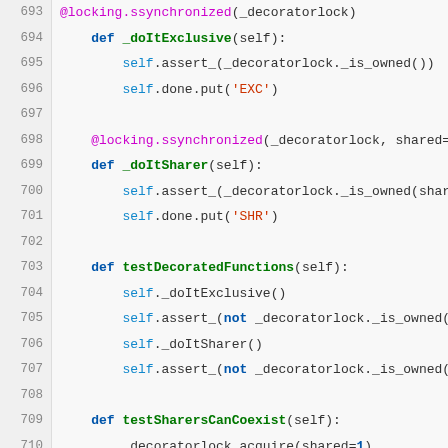[Figure (screenshot): Python source code snippet showing lines 693–718 of a file with syntax highlighting, including method definitions with locking decorators, test methods for decorated functions, sharers coexistence, and exclusive lock blocking.]